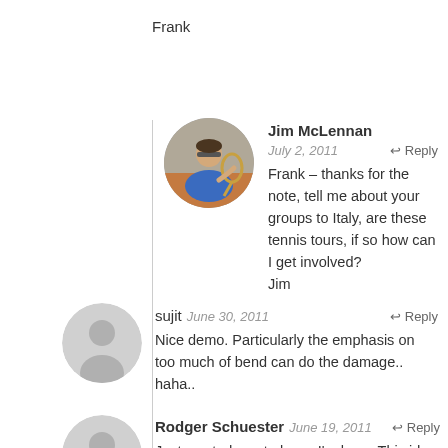Frank
[Figure (photo): Circular avatar of Jim McLennan playing tennis, wearing blue shirt and sunglasses]
Jim McLennan  July 2, 2011  ↩ Reply
Frank – thanks for the note, tell me about your groups to Italy, are these tennis tours, if so how can I get involved?
Jim
[Figure (illustration): Generic gray circular avatar for sujit]
sujit  June 30, 2011  ↩ Reply
Nice demo. Particularly the emphasis on too much of bend can do the damage.. haha..
[Figure (illustration): Generic gray circular avatar for Rodger Schuester]
Rodger Schuester  June 19, 2011  ↩ Reply
Just wanted you to know I'm here. This idea is still in my little black book and it's time to focus on this now that I'm experimenting on getting down deeper on my return of serve when I split step.